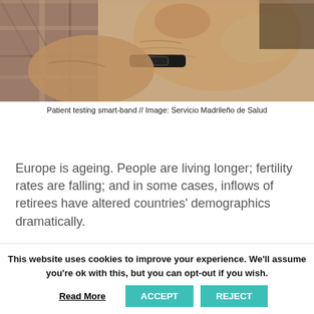[Figure (photo): Close-up photo of elderly patient's hands, one wearing a smart-band fitness tracker, with plaid shirt visible.]
Patient testing smart-band // Image: Servicio Madrileño de Salud
Europe is ageing. People are living longer; fertility rates are falling; and in some cases, inflows of retirees have altered countries' demographics dramatically.
[Figure (bar-chart): Share of population aged 65 and over. Small thumbnail bar chart showing Italy, Greece, Portugal.]
[Figure (line-chart): Falling fertility rates across most of Europe. Number of children. Small thumbnail line chart.]
This website uses cookies to improve your experience. We'll assume you're ok with this, but you can opt-out if you wish.
Read More   ACCEPT   REJECT